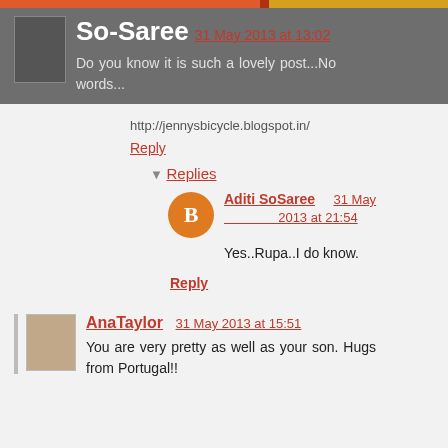So-Saree 31 May 2013 at 13:02
Do you know it is such a lovely post...No words...
http://jennysbicycle.blogspot.in/
Reply
Replies
Aditi SoSaree 31 May 2013 at 21:54
Yes..Rupa..I do know.
Reply
AnaTaylor 31 May 2013 at 15:51
You are very pretty as well as your son. Hugs from Portugal!!